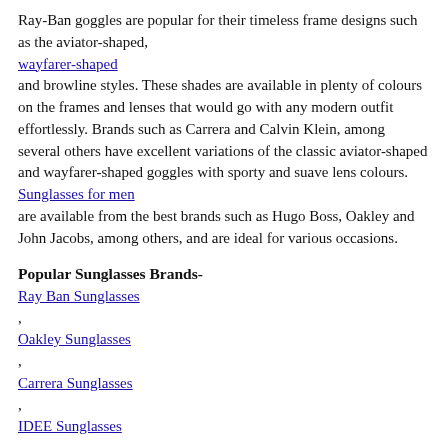Ray-Ban goggles are popular for their timeless frame designs such as the aviator-shaped, wayfarer-shaped and browline styles. These shades are available in plenty of colours on the frames and lenses that would go with any modern outfit effortlessly. Brands such as Carrera and Calvin Klein, among several others have excellent variations of the classic aviator-shaped and wayfarer-shaped goggles with sporty and suave lens colours. Sunglasses for men are available from the best brands such as Hugo Boss, Oakley and John Jacobs, among others, and are ideal for various occasions.
Popular Sunglasses Brands-
Ray Ban Sunglasses
,
Oakley Sunglasses
,
Carrera Sunglasses
,
IDEE Sunglasses
EYEGLASSES